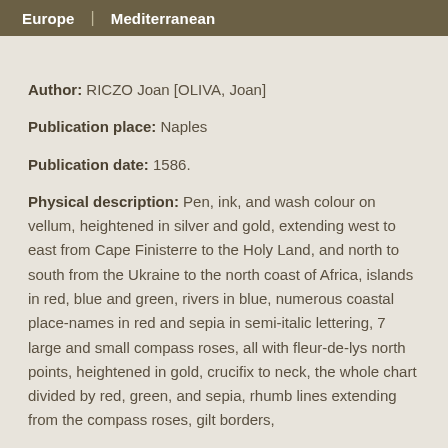Europe | Mediterranean
Author: RICZO Joan [OLIVA, Joan]
Publication place: Naples
Publication date: 1586.
Physical description: Pen, ink, and wash colour on vellum, heightened in silver and gold, extending west to east from Cape Finisterre to the Holy Land, and north to south from the Ukraine to the north coast of Africa, islands in red, blue and green, rivers in blue, numerous coastal place-names in red and sepia in semi-italic lettering, 7 large and small compass roses, all with fleur-de-lys north points, heightened in gold, crucifix to neck, the whole chart divided by red, green, and sepia, rhumb lines extending from the compass roses, gilt borders,